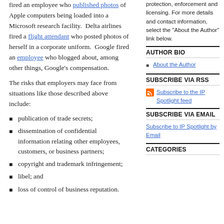fired an employee who published photos of Apple computers being loaded into a Microsoft research facility.  Delta airlines fired a flight attendant who posted photos of herself in a corporate uniform.  Google fired an employee who blogged about, among other things, Google’s compensation.
The risks that employers may face from situations like those described above include:
publication of trade secrets;
dissemination of confidential information relating other employees, customers, or business partners;
copyright and trademark infringement;
libel; and
loss of control of business reputation.
protection, enforcement and licensing. For more details and contact information, select the "About the Author" link below.
AUTHOR BIO
About the Author
SUBSCRIBE VIA RSS
Subscribe to the IP Spotlight feed
SUBSCRIBE VIA EMAIL
Subscribe to IP Spotlight by Email
CATEGORIES